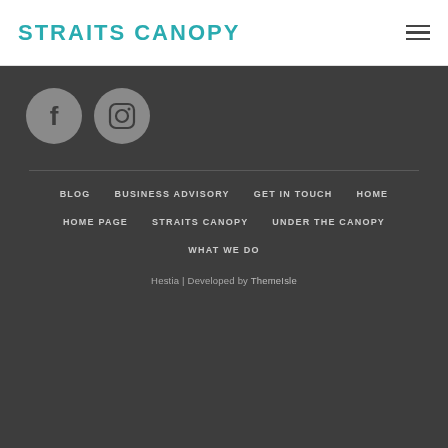STRAITS CANOPY
[Figure (logo): Facebook circular icon (grey background, white F)]
[Figure (logo): Instagram circular icon (grey background, camera outline)]
BLOG
BUSINESS ADVISORY
GET IN TOUCH
HOME
HOME PAGE
STRAITS CANOPY
UNDER THE CANOPY
WHAT WE DO
Hestia | Developed by ThemeIsle